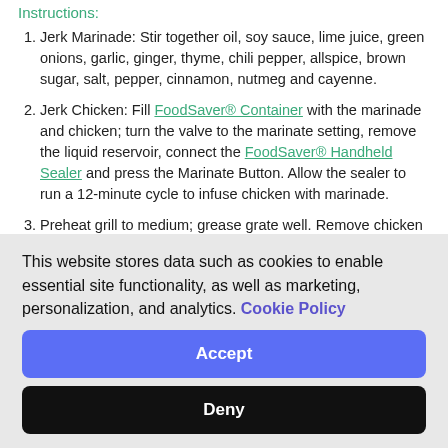Instructions:
Jerk Marinade: Stir together oil, soy sauce, lime juice, green onions, garlic, ginger, thyme, chili pepper, allspice, brown sugar, salt, pepper, cinnamon, nutmeg and cayenne.
Jerk Chicken: Fill FoodSaver® Container with the marinade and chicken; turn the valve to the marinate setting, remove the liquid reservoir, connect the FoodSaver® Handheld Sealer and press the Marinate Button. Allow the sealer to run a 12-minute cycle to infuse chicken with marinade.
Preheat grill to medium; grease grate well. Remove chicken from marinade; discard marinade.
Grill chicken, turning, for 20 to 25 minutes or until grill marked, and internal
This website stores data such as cookies to enable essential site functionality, as well as marketing, personalization, and analytics. Cookie Policy
Accept
Deny